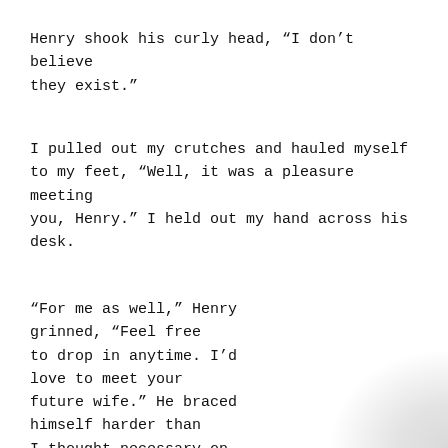Henry shook his curly head, “I don’t believe they exist.”
I pulled out my crutches and hauled myself to my feet, “Well, it was a pleasure meeting you, Henry.” I held out my hand across his desk.
“For me as well,” Henry grinned, “Feel free to drop in anytime. I’d love to meet your future wife.” He braced himself harder than I thought necessary on the desk and gave a heave as he pulled himself up. Then he simply smiled and held out his hand as if